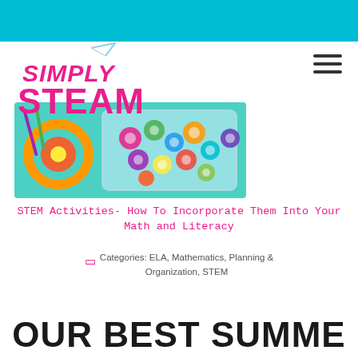Simply STEAM
[Figure (photo): Colorful plastic interlocking flower/snowflake-shaped building pieces in a clear container on a teal background]
STEM Activities- How To Incorporate Them Into Your Math and Literacy
Categories: ELA, Mathematics, Planning & Organization, STEM
OUR BEST SUMME